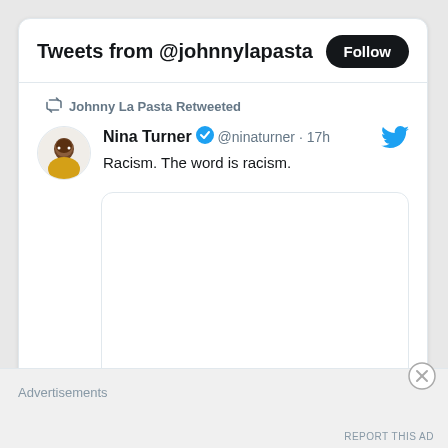Tweets from @johnnylapasta
Johnny La Pasta Retweeted
Nina Turner @ninaturner · 17h
Racism. The word is racism.
[Figure (screenshot): Embedded tweet or image placeholder box (empty white rounded rectangle)]
Advertisements